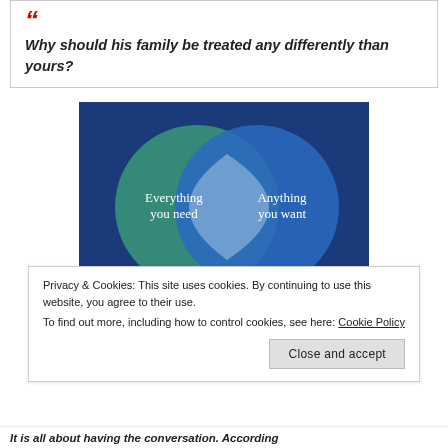Why should his family be treated any differently than yours?
[Figure (infographic): Venn diagram with two overlapping circles. Left circle (teal/green) labeled 'Everything you need', right circle (blue) labeled 'Anything you want'. Overlapping region is lighter blue/white.]
Privacy & Cookies: This site uses cookies. By continuing to use this website, you agree to their use. To find out more, including how to control cookies, see here: Cookie Policy
It is all about having the conversation. According